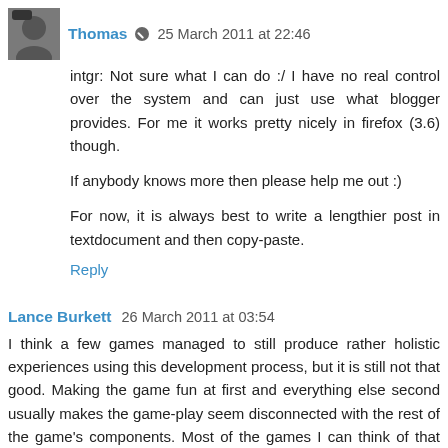Thomas • 25 March 2011 at 22:46
intgr: Not sure what I can do :/ I have no real control over the system and can just use what blogger provides. For me it works pretty nicely in firefox (3.6) though.
If anybody knows more then please help me out :)
For now, it is always best to write a lengthier post in textdocument and then copy-paste.
Reply
Lance Burkett 26 March 2011 at 03:54
I think a few games managed to still produce rather holistic experiences using this development process, but it is still not that good. Making the game fun at first and everything else second usually makes the game-play seem disconnected with the rest of the game's components. Most of the games I can think of that produce a holistic experience, provoke emotion without the use of interaction. It's like a film with fun game-play attached.